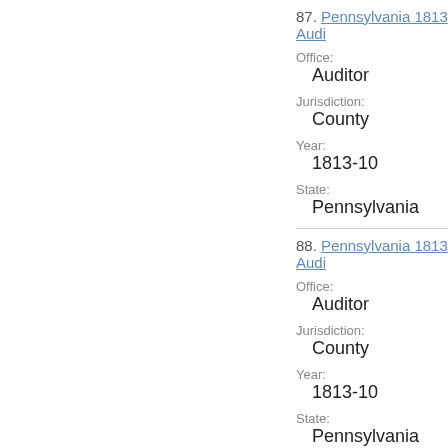87. Pennsylvania 1813 Audi
Office:
Auditor
Jurisdiction:
County
Year:
1813-10
State:
Pennsylvania
88. Pennsylvania 1813 Audi
Office:
Auditor
Jurisdiction:
County
Year:
1813-10
State:
Pennsylvania